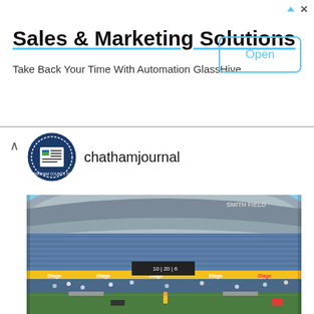Sales & Marketing Solutions
Take Back Your Time With Automation GlassHive
Open
chathamjournal
[Figure (photo): Interior view of a large football/soccer stadium with blue seats, a curved roof structure, yellow signage banners, players on the green field, and spectators in the stands. The sign 'SMITH FIELD' is visible at the top.]